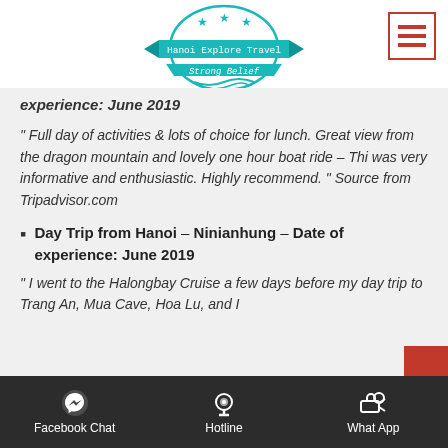[Figure (logo): Hanoi Explore Travel - Strong Belief logo with teal color, stars, and ribbon design]
experience: June 2019
" Full day of activities & lots of choice for lunch. Great view from the dragon mountain and lovely one hour boat ride – Thi was very informative and enthusiastic. Highly recommend. "  Source from Tripadvisor.com
Day Trip from Hanoi – Ninianhung – Date of experience: June 2019
" I went to the Halongbay Cruise a few days before my day trip to Trang An, Mua Cave, Hoa Lu, and I
Facebook Chat  Hotline  What App